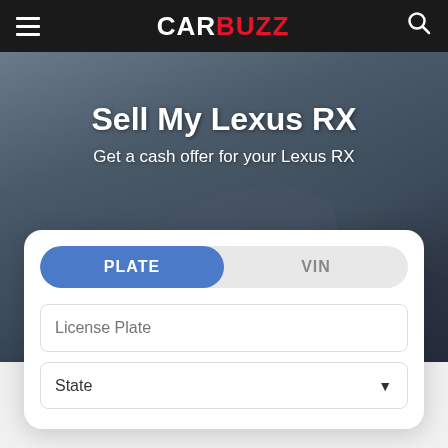CAR BUZZ
Sell My Lexus RX
Get a cash offer for your Lexus RX
[Figure (screenshot): A web form card with two tabs (PLATE and VIN), a License Plate text input field, and a State dropdown selector with a down-arrow chevron.]